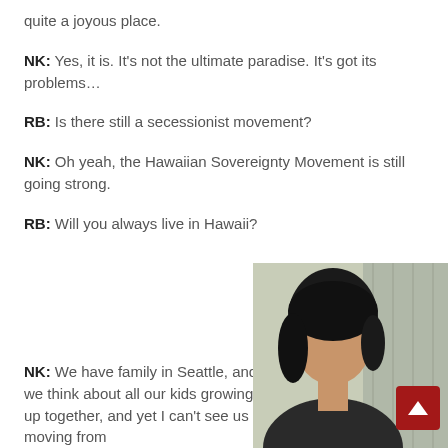quite a joyous place.
NK: Yes, it is. It's not the ultimate paradise. It's got its problems…
RB: Is there still a secessionist movement?
NK: Oh yeah, the Hawaiian Sovereignty Movement is still going strong.
RB: Will you always live in Hawaii?
NK: We have family in Seattle, and we think about all our kids growing up together, and yet I can't see us moving from
[Figure (photo): Portrait photo of a woman with dark hair, partial view, against a blurred background]